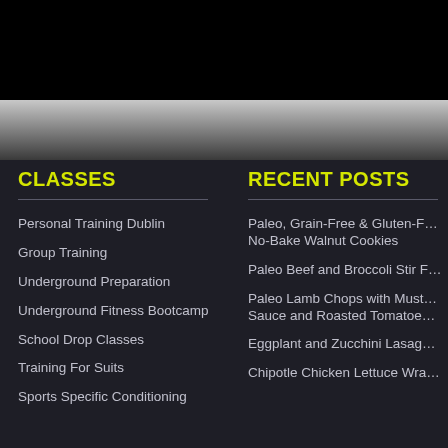CLASSES
Personal Training Dublin
Group Training
Underground Preparation
Underground Fitness Bootcamp
School Drop Classes
Training For Suits
Sports Specific Conditioning
RECENT POSTS
Paleo, Grain-Free & Gluten-Free No-Bake Walnut Cookies
Paleo Beef and Broccoli Stir F…
Paleo Lamb Chops with Must… Sauce and Roasted Tomatoe…
Eggplant and Zucchini Lasag…
Chipotle Chicken Lettuce Wra…